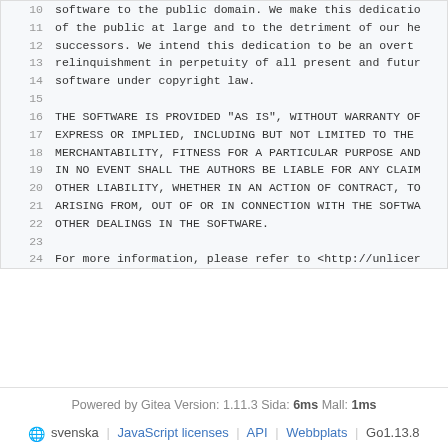10  software to the public domain. We make this dedicatio
11  of the public at large and to the detriment of our he
12  successors. We intend this dedication to be an overt
13  relinquishment in perpetuity of all present and futur
14  software under copyright law.
15
16  THE SOFTWARE IS PROVIDED "AS IS", WITHOUT WARRANTY OF
17  EXPRESS OR IMPLIED, INCLUDING BUT NOT LIMITED TO THE
18  MERCHANTABILITY, FITNESS FOR A PARTICULAR PURPOSE AND
19  IN NO EVENT SHALL THE AUTHORS BE LIABLE FOR ANY CLAIM
20  OTHER LIABILITY, WHETHER IN AN ACTION OF CONTRACT, TO
21  ARISING FROM, OUT OF OR IN CONNECTION WITH THE SOFTWA
22  OTHER DEALINGS IN THE SOFTWARE.
23
24  For more information, please refer to <http://unlicer
Powered by Gitea Version: 1.11.3 Sida: 6ms Mall: 1ms
svenska | JavaScript licenses | API | Webbplats | Go1.13.8